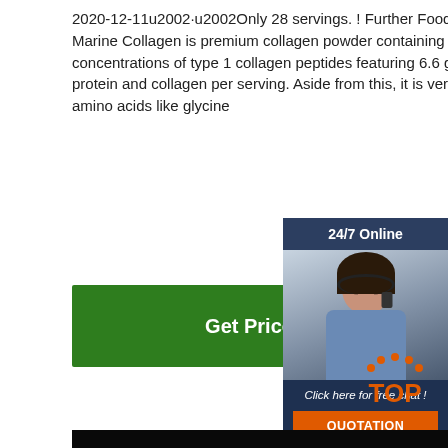2020-12-11u2002·u2002Only 28 servings. ! Further Food Premium Marine Collagen is premium collagen powder containing high concentrations of type 1 collagen peptides featuring 6.6 grams of protein and collagen per serving. Aside from this, it is very rich in amino acids like glycine
[Figure (other): Green 'Get Price' button]
[Figure (other): 24/7 Online customer support widget with photo of woman with headset, 'Click here for free chat!' text, and orange QUOTATION button]
[Figure (photo): Product photo of white collagen powder in an egg-shaped mound on a black background]